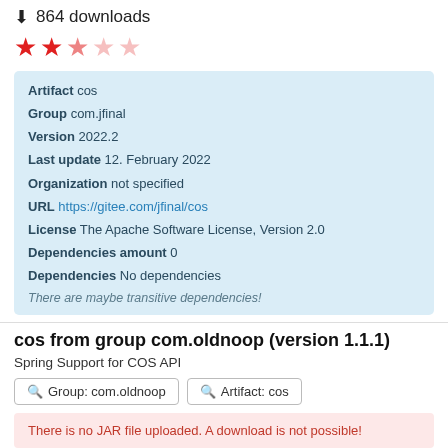864 downloads
[Figure (other): 5 star rating showing approximately 2.5 stars filled in red]
| Artifact | cos |
| Group | com.jfinal |
| Version | 2022.2 |
| Last update | 12. February 2022 |
| Organization | not specified |
| URL | https://gitee.com/jfinal/cos |
| License | The Apache Software License, Version 2.0 |
| Dependencies amount | 0 |
| Dependencies | No dependencies |
There are maybe transitive dependencies!
cos from group com.oldnoop (version 1.1.1)
Spring Support for COS API
🔍 Group: com.oldnoop   🔍 Artifact: cos
There is no JAR file uploaded. A download is not possible!